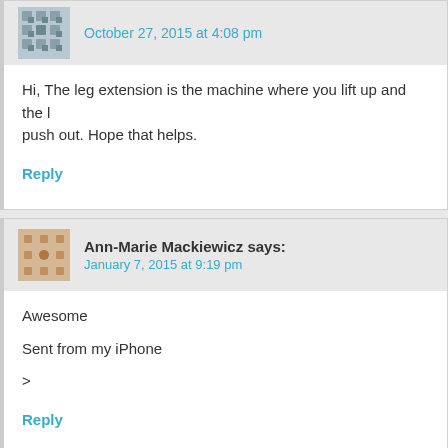October 27, 2015 at 4:08 pm
Hi, The leg extension is the machine where you lift up and the l… push out. Hope that helps.
Reply
Ann-Marie Mackiewicz says:
January 7, 2015 at 9:19 pm
Awesome

Sent from my iPhone

>
Reply
Glenn says:
January 7, 2015 at 9:36 pm
Are we doing abs during our aerobics days? Abs used to be part o…